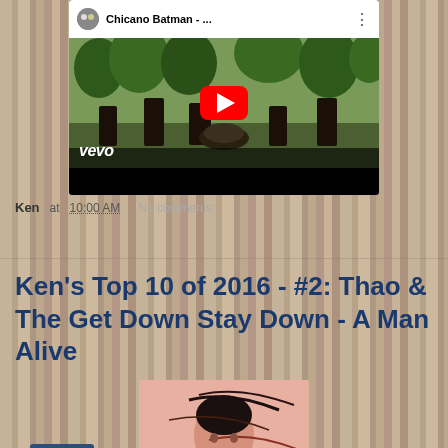[Figure (screenshot): Embedded YouTube video player showing Chicano Batman music video on Vevo, with red play button overlay, outdoor band performance scene]
Ken at 10:00 AM    No comments:
Share
Ken's Top 10 of 2016 - #2: Thao & The Get Down Stay Down - A Man Alive
[Figure (photo): Album art for Thao & The Get Down Stay Down - A Man Alive, showing illustrated face with abstract lines]